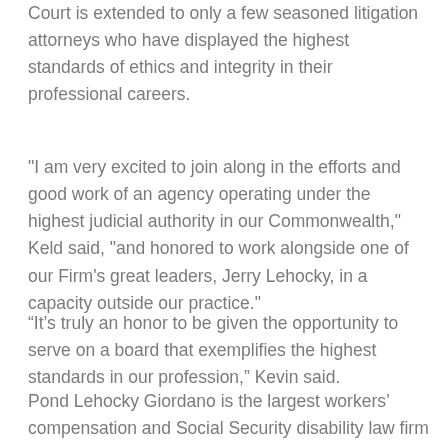Court is extended to only a few seasoned litigation attorneys who have displayed the highest standards of ethics and integrity in their professional careers.
"I am very excited to join along in the efforts and good work of an agency operating under the highest judicial authority in our Commonwealth," Keld said, "and honored to work alongside one of our Firm's great leaders, Jerry Lehocky, in a capacity outside our practice."
“It's truly an honor to be given the opportunity to serve on a board that exemplifies the highest standards in our profession,” Kevin said.
Pond Lehocky Giordano is the largest workers’ compensation and Social Security disability law firm in the region, boasting more than 40 attorneys and 200